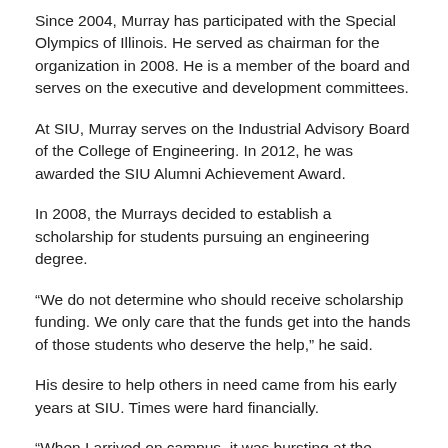Since 2004, Murray has participated with the Special Olympics of Illinois. He served as chairman for the organization in 2008. He is a member of the board and serves on the executive and development committees.
At SIU, Murray serves on the Industrial Advisory Board of the College of Engineering. In 2012, he was awarded the SIU Alumni Achievement Award.
In 2008, the Murrays decided to establish a scholarship for students pursuing an engineering degree.
“We do not determine who should receive scholarship funding. We only care that the funds get into the hands of those students who deserve the help,” he said.
His desire to help others in need came from his early years at SIU. Times were hard financially.
“When I arrived on campus, it was bursting at the seams. There was not a single room available, so I ended up sleeping on a cot